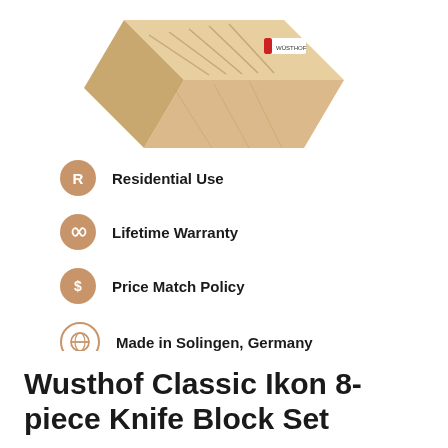[Figure (photo): A wooden knife block set (Wusthof) shown from above at an angle, natural light oak wood color with a small Wusthof logo label on top.]
Residential Use
Lifetime Warranty
Price Match Policy
Made in Solingen, Germany
Wusthof Classic Ikon 8-piece Knife Block Set